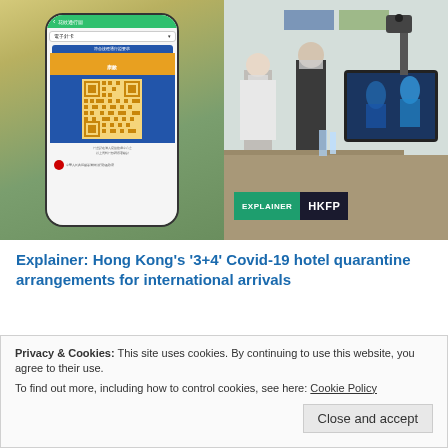[Figure (photo): Split image: left side shows a smartphone with a Chinese health/vaccine QR code app (green header, yellow QR code), right side shows hotel check-in counter with thermal camera and two masked staff members. An EXPLAINER / HKFP badge is overlaid on the bottom-right.]
Explainer: Hong Kong's '3+4' Covid-19 hotel quarantine arrangements for international arrivals
Privacy & Cookies: This site uses cookies. By continuing to use this website, you agree to their use.
To find out more, including how to control cookies, see here: Cookie Policy
Close and accept